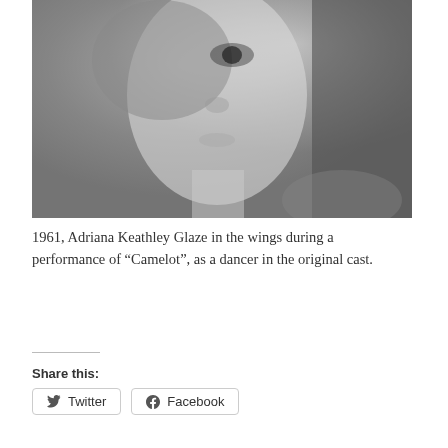[Figure (photo): Black and white close-up photograph of Adriana Keathley Glaze in the wings during a performance of Camelot, 1961. The image shows a young woman's face and neck in profile/three-quarter view, with dramatic eye makeup, looking upward slightly.]
1961, Adriana Keathley Glaze in the wings during a performance of “Camelot”, as a dancer in the original cast.
Share this:
Twitter   Facebook